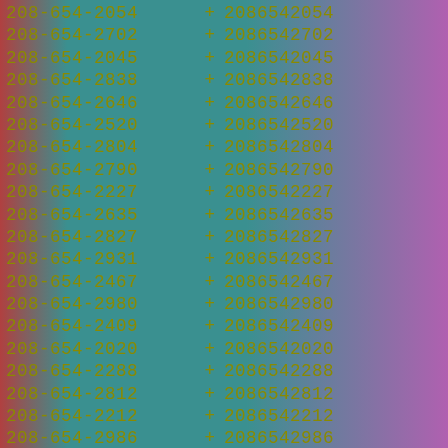208-654-2054 + 2086542054
208-654-2702 + 2086542702
208-654-2045 + 2086542045
208-654-2838 + 2086542838
208-654-2646 + 2086542646
208-654-2520 + 2086542520
208-654-2804 + 2086542804
208-654-2790 + 2086542790
208-654-2227 + 2086542227
208-654-2635 + 2086542635
208-654-2827 + 2086542827
208-654-2931 + 2086542931
208-654-2467 + 2086542467
208-654-2980 + 2086542980
208-654-2409 + 2086542409
208-654-2020 + 2086542020
208-654-2288 + 2086542288
208-654-2812 + 2086542812
208-654-2212 + 2086542212
208-654-2986 + 2086542986
208-654-2260 + 2086542260
208-654-2704 + 2086542704